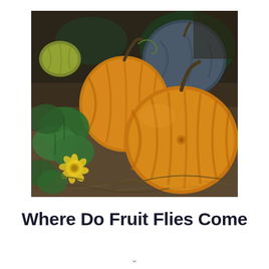[Figure (photo): Photograph of large orange and dark-blue/grey pumpkins or squash growing on the vine in a garden, with green leaves and a yellow flower visible on the left side. The produce sits on dry ground with vines and foliage surrounding them.]
Where Do Fruit Flies Come